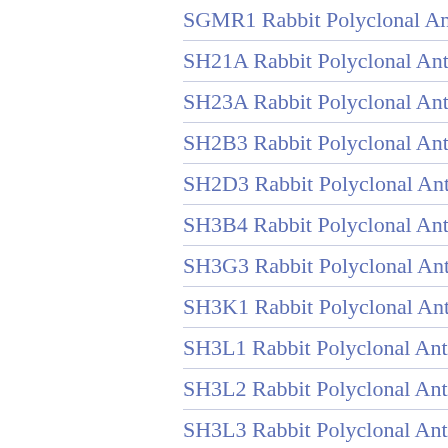SGMR1 Rabbit Polyclonal Antibody
SH21A Rabbit Polyclonal Antibody
SH23A Rabbit Polyclonal Antibody
SH2B3 Rabbit Polyclonal Antibody
SH2D3 Rabbit Polyclonal Antibody
SH3B4 Rabbit Polyclonal Antibody
SH3G3 Rabbit Polyclonal Antibody
SH3K1 Rabbit Polyclonal Antibody
SH3L1 Rabbit Polyclonal Antibody
SH3L2 Rabbit Polyclonal Antibody
SH3L3 Rabbit Polyclonal Antibody
SHAN3 Rabbit Polyclonal Antibody
SHE Rabbit Polyclonal Antibody